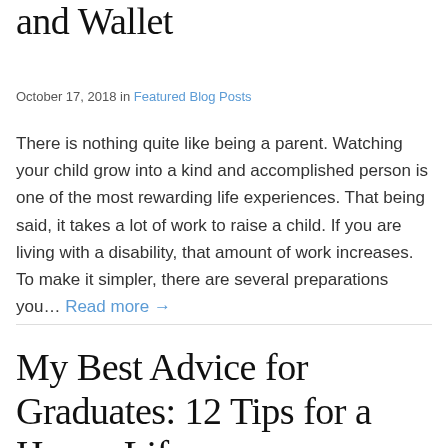and Wallet
October 17, 2018 in Featured Blog Posts
There is nothing quite like being a parent. Watching your child grow into a kind and accomplished person is one of the most rewarding life experiences. That being said, it takes a lot of work to raise a child. If you are living with a disability, that amount of work increases. To make it simpler, there are several preparations you... Read more →
My Best Advice for Graduates: 12 Tips for a Happy Life